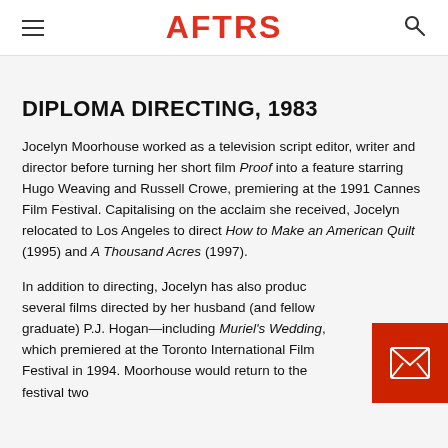AFTRS
DIPLOMA DIRECTING, 1983
Jocelyn Moorhouse worked as a television script editor, writer and director before turning her short film Proof into a feature starring Hugo Weaving and Russell Crowe, premiering at the 1991 Cannes Film Festival. Capitalising on the acclaim she received, Jocelyn relocated to Los Angeles to direct How to Make an American Quilt (1995) and A Thousand Acres (1997).
In addition to directing, Jocelyn has also produced several films directed by her husband (and fellow graduate) P.J. Hogan—including Muriel's Wedding, which premiered at the Toronto International Film Festival in 1994. Moorhouse would return to the festival two